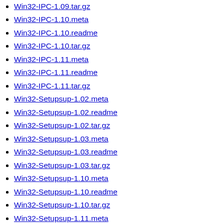Win32-IPC-1.09.tar.gz
Win32-IPC-1.10.meta
Win32-IPC-1.10.readme
Win32-IPC-1.10.tar.gz
Win32-IPC-1.11.meta
Win32-IPC-1.11.readme
Win32-IPC-1.11.tar.gz
Win32-Setupsup-1.02.meta
Win32-Setupsup-1.02.readme
Win32-Setupsup-1.02.tar.gz
Win32-Setupsup-1.03.meta
Win32-Setupsup-1.03.readme
Win32-Setupsup-1.03.tar.gz
Win32-Setupsup-1.10.meta
Win32-Setupsup-1.10.readme
Win32-Setupsup-1.10.tar.gz
Win32-Setupsup-1.11.meta
Win32-Setupsup-1.11.readme
Win32-Setupsup-1.11.tar.gz
Win32-Setupsup-1.12.meta
Win32-Setupsup-1.12.readme
Win32-Setupsup-1.12.tar.gz
vernum-1.7.gz
Apache/2.4.46 (Unix) Server at www.cpan.org Port 80